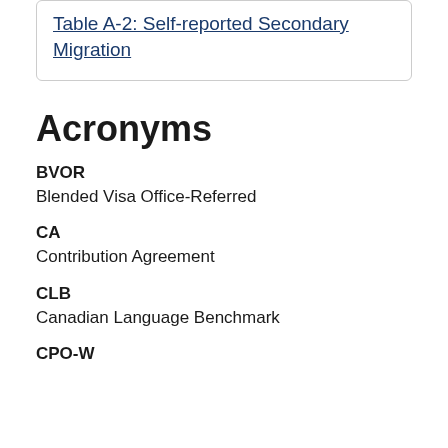Table A-2: Self-reported Secondary Migration
Acronyms
BVOR
Blended Visa Office-Referred
CA
Contribution Agreement
CLB
Canadian Language Benchmark
CPO-W